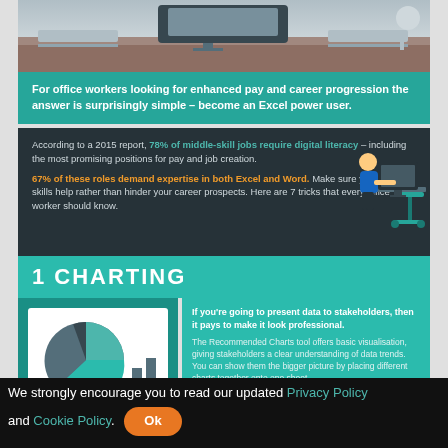[Figure (illustration): Top illustration showing a desk/office scene with laptop and monitor]
For office workers looking for enhanced pay and career progression the answer is surprisingly simple – become an Excel power user.
According to a 2015 report, 78% of middle-skill jobs require digital literacy – including the most promising positions for pay and job creation.

67% of these roles demand expertise in both Excel and Word. Make sure your Excel skills help rather than hinder your career prospects. Here are 7 tricks that every office worker should know.
1  CHARTING
If you're going to present data to stakeholders, then it pays to make it look professional.

The Recommended Charts tool offers basic visualisation, giving stakeholders a clear understanding of data trends. You can show them the bigger picture by placing different charts together onto one sheet.
How to:
We strongly encourage you to read our updated Privacy Policy and Cookie Policy. Ok